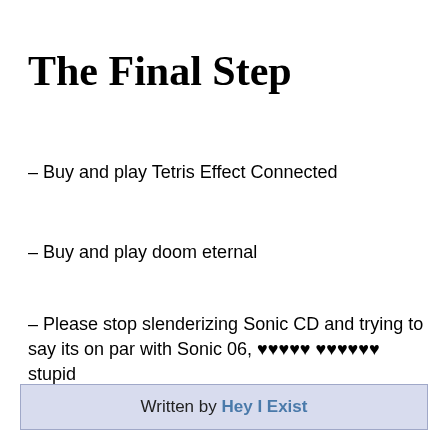The Final Step
– Buy and play Tetris Effect Connected
– Buy and play doom eternal
– Please stop slenderizing Sonic CD and trying to say its on par with Sonic 06, ♥♥♥♥♥ ♥♥♥♥♥♥ stupid
Written by Hey I Exist